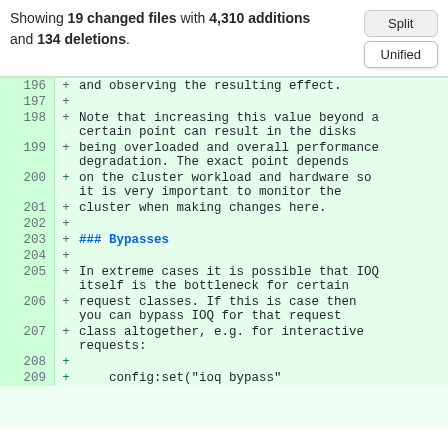Showing 19 changed files with 4,310 additions and 134 deletions.
Split | Unified (buttons)
| line | type | content |
| --- | --- | --- |
| 196 | + | and observing the resulting effect. |
| 197 | + |  |
| 198 | + | Note that increasing this value beyond a certain point can result in the disks |
| 199 | + | being overloaded and overall performance degradation. The exact point depends |
| 200 | + | on the cluster workload and hardware so it is very important to monitor the |
| 201 | + | cluster when making changes here. |
| 202 | + |  |
| 203 | + | ### Bypasses |
| 204 | + |  |
| 205 | + | In extreme cases it is possible that IOQ itself is the bottleneck for certain |
| 206 | + | request classes. If this is case then you can bypass IOQ for that request |
| 207 | + | class altogether, e.g. for interactive requests: |
| 208 | + |  |
| 209 | + |     config:set("ioq bypass" |